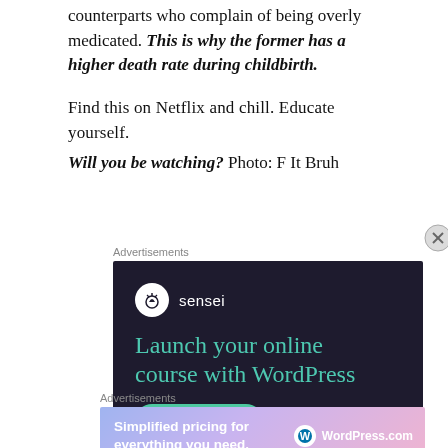counterparts who complain of being overly medicated. This is why the former has a higher death rate during childbirth.
Find this on Netflix and chill. Educate yourself. Will you be watching? Photo: F It Bruh
Advertisements
[Figure (other): Sensei advertisement: dark background with sensei logo and text 'Launch your online course with WordPress' and a 'Learn More' button]
Advertisements
[Figure (other): WordPress.com advertisement: gradient background with text 'Simplified pricing for everything you need.' and WordPress.com logo]